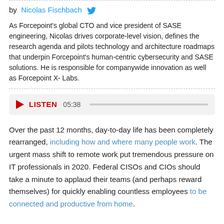by Nicolas Fischbach [twitter]
As Forcepoint's global CTO and vice president of SASE engineering, Nicolas drives corporate-level vision, defines the research agenda and pilots technology and architecture roadmaps that underpin Forcepoint's human-centric cybersecurity and SASE solutions. He is responsible for companywide innovation as well as Forcepoint X-Labs.
[Figure (other): Audio player widget showing play button, LISTEN label in red, timestamp 05:38, and a progress bar]
Over the past 12 months, day-to-day life has been completely rearranged, including how and where many people work. The urgent mass shift to remote work put tremendous pressure on IT professionals in 2020. Federal CISOs and CIOs should take a minute to applaud their teams (and perhaps reward themselves) for quickly enabling countless employees to be connected and productive from home.